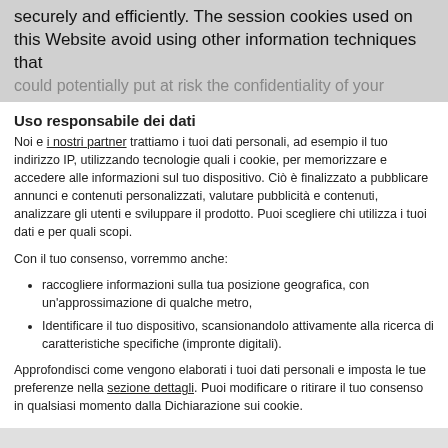securely and efficiently. The session cookies used on this Website avoid using other information techniques that could potentially put at risk the confidentiality of your
Uso responsabile dei dati
Noi e i nostri partner trattiamo i tuoi dati personali, ad esempio il tuo indirizzo IP, utilizzando tecnologie quali i cookie, per memorizzare e accedere alle informazioni sul tuo dispositivo. Ciò è finalizzato a pubblicare annunci e contenuti personalizzati, valutare pubblicità e contenuti, analizzare gli utenti e sviluppare il prodotto. Puoi scegliere chi utilizza i tuoi dati e per quali scopi.
Con il tuo consenso, vorremmo anche:
raccogliere informazioni sulla tua posizione geografica, con un'approssimazione di qualche metro,
Identificare il tuo dispositivo, scansionandolo attivamente alla ricerca di caratteristiche specifiche (impronte digitali).
Approfondisci come vengono elaborati i tuoi dati personali e imposta le tue preferenze nella sezione dettagli. Puoi modificare o ritirare il tuo consenso in qualsiasi momento dalla Dichiarazione sui cookie.
Utilizziamo i cookie per personalizzare contenuti ed annunci, per fornire funzionalità dei social media e per analizzare il nostro traffico. Condividiamo inoltre informazioni sul modo in cui utilizza il nostro sito con i nostri partner che si occupano di analisi dei dati web, pubblicità e social media, i quali potrebbero combinarle con altre informazioni che ha fornito loro o che hanno raccolto dal suo utilizzo dei loro servizi. Acconsenta ai nostri cookie se continua ad utilizzare il nostro sito web.
Acconsenti ai selezionati | Accetta tutti i cookie